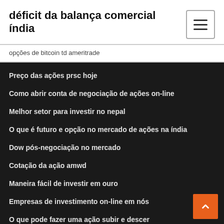déficit da balança comercial índia
opções de bitcoin td ameritrade
Preço das ações prsc hoje
Como abrir conta de negociação de ações on-line
Melhor setor para investir no nepal
O que é futuro e opção no mercado de ações na índia
Dow pós-negociação no mercado
Cotação da ação amwd
Maneira fácil de investir em ouro
Empresas de investimento on-line em nós
O que pode fazer uma ação subir e descer
Gráfico de ações sp